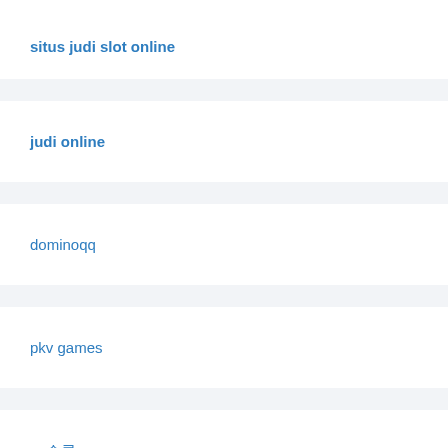situs judi slot online
judi online
dominoqq
pkv games
gs슬롯